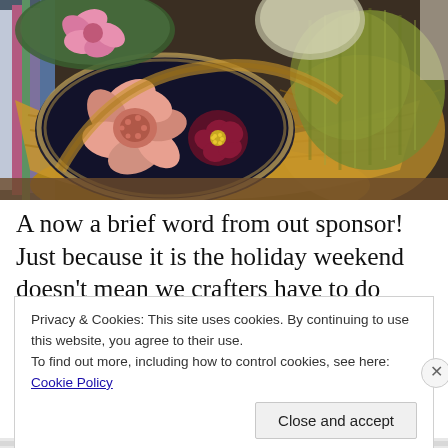[Figure (photo): Close-up photo of handcrafted embroidered/hooked textile pieces arranged in wicker baskets. The pieces feature floral patterns in pink, salmon, burgundy, green, and gold on dark backgrounds. One circular piece shows large pink flower motifs on a dark navy background, another shows a small burgundy and gold flower. A textured olive/gold piece is visible on the right. Colorful striped textile visible on the left.]
A now a brief word from out sponsor! Just because it is the holiday weekend doesn't mean we crafters have to do without. Remember that you can get a PDF instant
Privacy & Cookies: This site uses cookies. By continuing to use this website, you agree to their use.
To find out more, including how to control cookies, see here: Cookie Policy
Close and accept